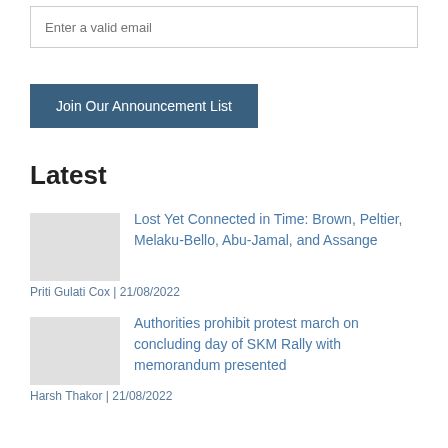Enter a valid email
Join Our Announcement List
Latest
Lost Yet Connected in Time: Brown, Peltier, Melaku-Bello, Abu-Jamal, and Assange
Priti Gulati Cox | 21/08/2022
Authorities prohibit protest march on concluding day of SKM Rally with memorandum presented
Harsh Thakor | 21/08/2022